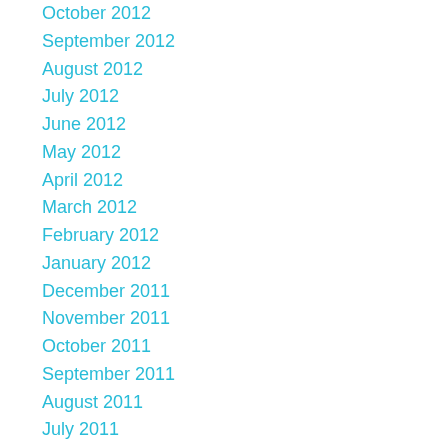October 2012
September 2012
August 2012
July 2012
June 2012
May 2012
April 2012
March 2012
February 2012
January 2012
December 2011
November 2011
October 2011
September 2011
August 2011
July 2011
June 2011
May 2011
April 2011
March 2011
February 2011
January 2011